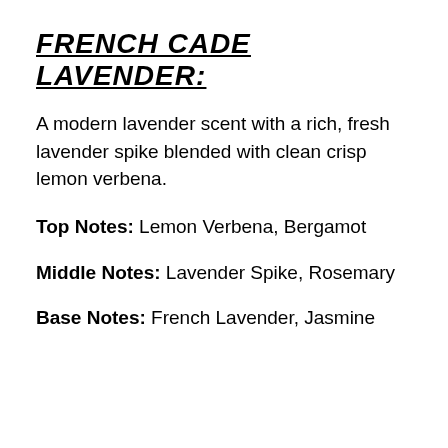FRENCH CADE LAVENDER:
A modern lavender scent with a rich, fresh lavender spike blended with clean crisp lemon verbena.
Top Notes: Lemon Verbena, Bergamot
Middle Notes: Lavender Spike, Rosemary
Base Notes: French Lavender, Jasmine